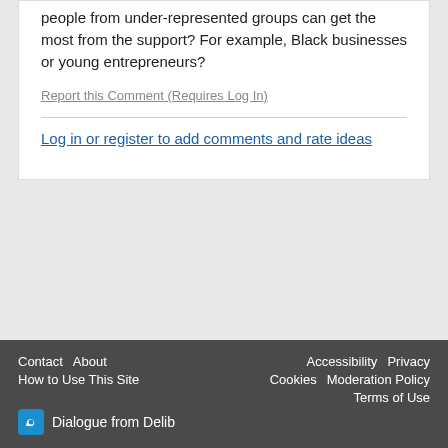people from under-represented groups can get the most from the support? For example, Black businesses or young entrepreneurs?
Report this Comment (Requires Log In)
Log in or register to add comments and rate ideas
Contact  About  How to Use This Site  Accessibility  Privacy  Cookies  Moderation Policy  Terms of Use  Dialogue from Delib